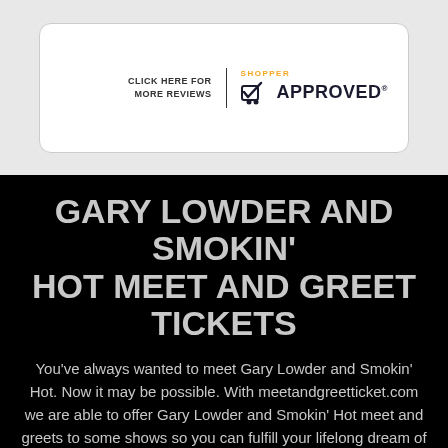[Figure (logo): Shopper Approved badge with 'Click here for more reviews' text, a checkmark cart icon, and 'SHOPPER APPROVED' text in orange and dark blue]
GARY LOWDER AND SMOKIN' HOT MEET AND GREET TICKETS
You've always wanted to meet Gary Lowder and Smokin' Hot. Now it may be possible. With meetandgreetticket.com we are able to offer Gary Lowder and Smokin' Hot meet and greets to some shows so you can fulfill your lifelong dream of meeting Gary Lowder and Smokin' Hot. Many Gary Lowder and Smokin' Hot meet and greet tickets may allow you to take a photo with your idol. Many other Gary Lowder